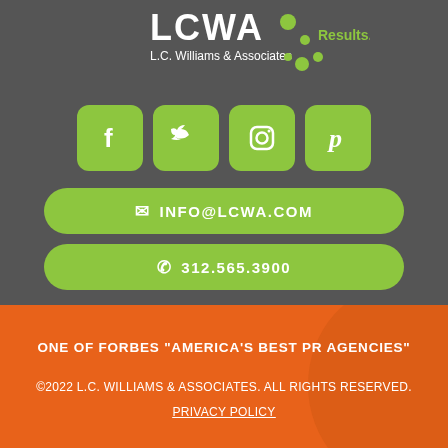[Figure (logo): LCWA L.C. Williams & Associates logo with green dots and tagline 'Results.']
[Figure (infographic): Four green rounded square social media icons: Facebook (f), Twitter (bird), Instagram (camera), Pinterest (p)]
INFO@LCWA.COM
312.565.3900
ONE OF FORBES “AMERICA’S BEST PR AGENCIES”
©2022 L.C. WILLIAMS & ASSOCIATES. ALL RIGHTS RESERVED.
PRIVACY POLICY